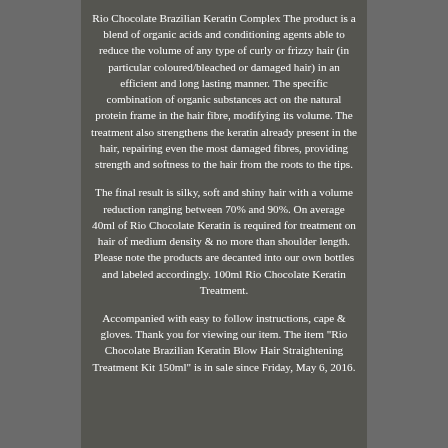Rio Chocolate Brazilian Keratin Complex The product is a blend of organic acids and conditioning agents able to reduce the volume of any type of curly or frizzy hair (in particular coloured/bleached or damaged hair) in an efficient and long lasting manner. The specific combination of organic substances act on the natural protein frame in the hair fibre, modifying its volume. The treatment also strengthens the keratin already present in the hair, repairing even the most damaged fibres, providing strength and softness to the hair from the roots to the tips.
The final result is silky, soft and shiny hair with a volume reduction ranging between 70% and 90%. On average 40ml of Rio Chocolate Keratin is required for treatment on hair of medium density & no more than shoulder length. Please note the products are decanted into our own bottles and labeled accordingly. 100ml Rio Chocolate Keratin Treatment.
Accompanied with easy to follow instructions, cape & gloves. Thank you for viewing our item. The item "Rio Chocolate Brazilian Keratin Blow Hair Straightening Treatment Kit 150ml" is in sale since Friday, May 6, 2016.